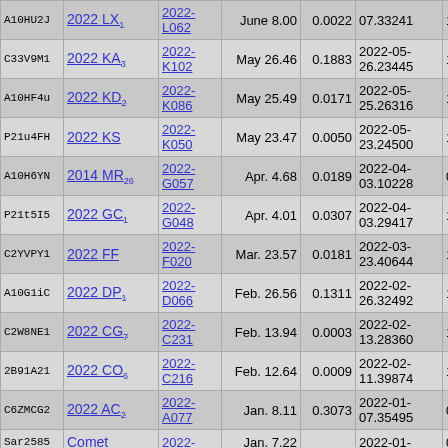| ID | Name | Code | Date | Value1 | Datetime | Time |
| --- | --- | --- | --- | --- | --- | --- |
| A10HU2J | 2022 LX1 | 2022-L062 | June 8.00 | 0.0022 | 07.33241 | 18:23:1 |
| C33V9M1 | 2022 KA3 | 2022-K102 | May 26.46 | 0.1883 | 2022-05-26.23445 | 18:53:2 |
| A10HF4u | 2022 KD2 | 2022-K086 | May 25.49 | 0.0171 | 2022-05-25.26316 | 14:00:1 |
| P21u4FH | 2022 KS | 2022-K050 | May 23.47 | 0.0050 | 2022-05-23.24500 | 16:03:4 |
| A10H6YN | 2014 MR26 | 2022-G057 | Apr. 4.68 | 0.0189 | 2022-04-03.10228 | 06:02:5 |
| P21t5I5 | 2022 GC1 | 2022-G048 | Apr. 4.01 | 0.0307 | 2022-04-03.29417 | 11:53:0 |
| C2YVPY1 | 2022 FF | 2022-F020 | Mar. 23.57 | 0.0181 | 2022-03-23.40644 | 13:06:2 |
| A10G1iC | 2022 DP1 | 2022-D066 | Feb. 26.56 | 0.1311 | 2022-02-26.32492 | 10:37:2 |
| C2W8NE1 | 2022 CG7 | 2022-C231 | Feb. 13.94 | 0.0003 | 2022-02-13.28360 | 11:50:0 |
| 2B91A21 | 2022 CO6 | 2022-C216 | Feb. 12.64 | 0.0009 | 2022-02-11.39874 | 11:10:2 |
| C6ZMCG2 | 2022 AC2 | 2022-A077 | Jan. 8.11 | 0.3073 | 2022-01-07.35495 | 08:13:2 |
| Sar2585 | Comet | 2022- | Jan. 7.22 |  | 2022-01- | 08:19: |